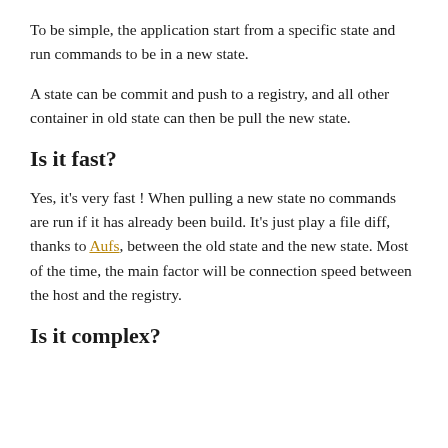To be simple, the application start from a specific state and run commands to be in a new state.
A state can be commit and push to a registry, and all other container in old state can then be pull the new state.
Is it fast?
Yes, it's very fast ! When pulling a new state no commands are run if it has already been build. It's just play a file diff, thanks to Aufs, between the old state and the new state. Most of the time, the main factor will be connection speed between the host and the registry.
Is it complex?